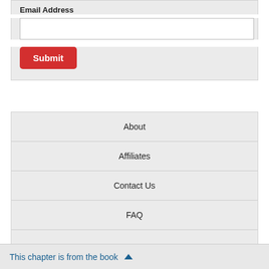Email Address
[Email input field]
Submit
About
Affiliates
Contact Us
FAQ
This chapter is from the book ▲